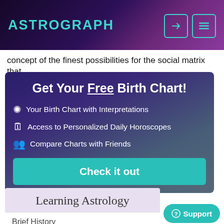ASTROGRAPH
concept of the finest possibilities for the social matrix that
[Figure (infographic): Promotional banner for Astrograph: Get Your Free Birth Chart! with bullet points: Your Birth Chart with Interpretations, Access to Personalized Daily Horoscopes, Compare Charts with Friends. Teal Check it out button.]
Learning Astrology
Brief History
The Elements & Modes